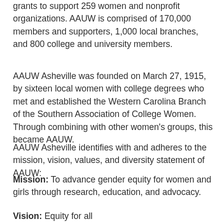grants to support 259 women and nonprofit organizations. AAUW is comprised of 170,000 members and supporters, 1,000 local branches, and 800 college and university members.
AAUW Asheville was founded on March 27, 1915, by sixteen local women with college degrees who met and established the Western Carolina Branch of the Southern Association of College Women. Through combining with other women's groups, this became AAUW.
AAUW Asheville identifies with and adheres to the mission, vision, values, and diversity statement of AAUW:
Mission: To advance gender equity for women and girls through research, education, and advocacy.
Vision: Equity for all